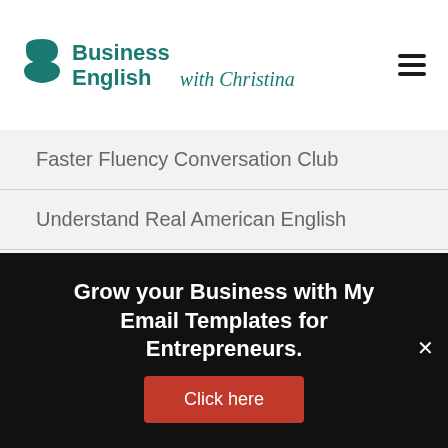[Figure (logo): Business English with Christina logo — teal circular chat icon on left, bold teal text 'Business English' with italic script 'with Christina']
Faster Fluency Conversation Club
Understand Real American English
Confident Conversation Skills
Get The Job
Speak Business English Confidently
Master Real American English
Grow your Business with My Email Templates for Entrepreneurs.
Click here